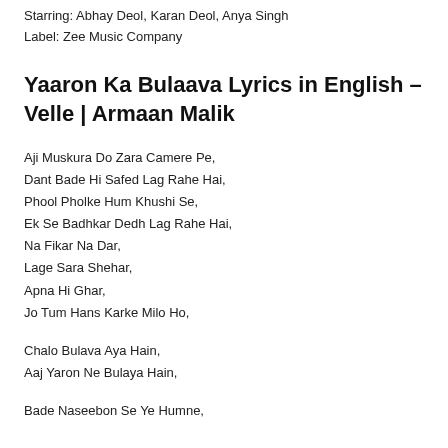Starring: Abhay Deol, Karan Deol, Anya Singh
Label: Zee Music Company
Yaaron Ka Bulaava Lyrics in English – Velle | Armaan Malik
Aji Muskura Do Zara Camere Pe,
Dant Bade Hi Safed Lag Rahe Hai,
Phool Pholke Hum Khushi Se,
Ek Se Badhkar Dedh Lag Rahe Hai,
Na Fikar Na Dar,
Lage Sara Shehar,
Apna Hi Ghar,
Jo Tum Hans Karke Milo Ho,
Chalo Bulava Aya Hain,
Aaj Yaron Ne Bulaya Hain,
Bade Naseebon Se Ye Humne,